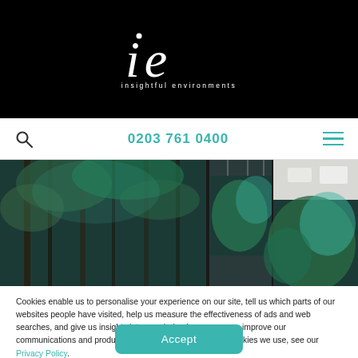[Figure (logo): Insightful Environments logo — stylized italic 'ie' in white on black background with tagline 'insightful environments']
0203 761 0400
[Figure (photo): Interior office space with large nature/tree photographic wall art panels, corridor with hanging pendant lights]
Cookies enable us to personalise your experience on our site, tell us which parts of our websites people have visited, help us measure the effectiveness of ads and web searches, and give us insights into user behaviour so we can improve our communications and products. To find out more about the cookies we use, see our Privacy Policy.
Accept